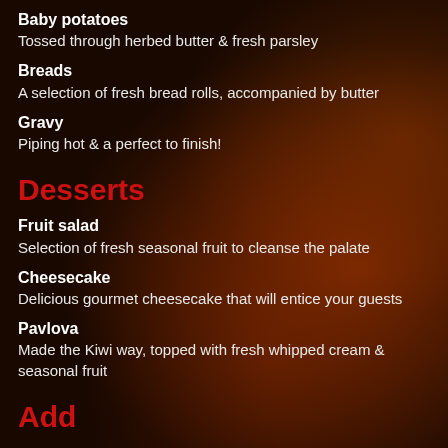Baby potatoes
Tossed through herbed butter & fresh parsley
Breads
A selection of fresh bread rolls, accompanied by butter
Gravy
Piping hot & a perfect to finish!
Desserts
Fruit salad
Selection of fresh seasonal fruit to cleanse the palate
Cheesecake
Delicious gourmet cheesecake that will entice your guests
Pavlova
Made the Kiwi way, topped with fresh whipped cream & seasonal fruit
Add